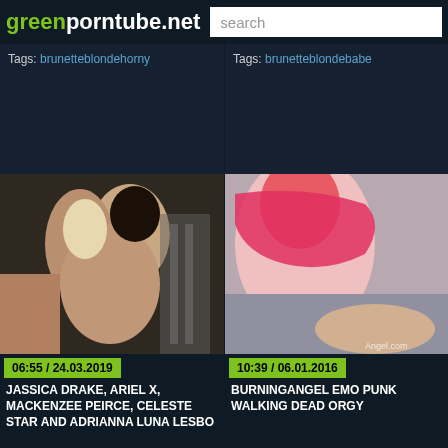greenporntube.net  search
Tags: brunetteblondehorny
Tags: brunetteblondebabe
[Figure (photo): Video thumbnail showing multiple women in an adult scene, dated 06:55 / 24.03.2019]
[Figure (photo): Video thumbnail showing a woman with pink hair in an adult scene with watermark 'Angel.com', dated 10:39 / 06.01.2016]
06:55 / 24.03.2019
10:39 / 06.01.2016
JASSICA DRAKE, ARIEL X, MACKENZEE PEIRCE, CELESTE STAR AND ADRIANNA LUNA LESBO
BURNINGANGEL EMO PUNK WALKING DEAD ORGY